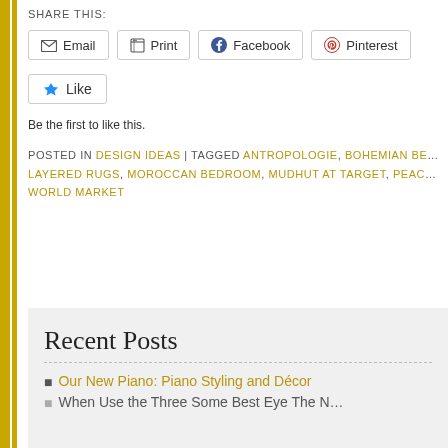SHARE THIS:
Email | Print | Facebook | Pinterest
Like
Be the first to like this.
POSTED IN DESIGN IDEAS | TAGGED ANTROPOLOGIE, BOHEMIAN BE..., LAYERED RUGS, MOROCCAN BEDROOM, MUDHUT AT TARGET, PEAC..., WORLD MARKET
Recent Posts
Our New Piano: Piano Styling and Décor
When We the Three Some Best Eye Th...